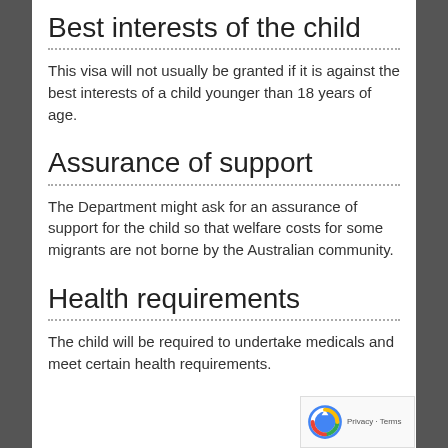Best interests of the child
This visa will not usually be granted if it is against the best interests of a child younger than 18 years of age.
Assurance of support
The Department might ask for an assurance of support for the child so that welfare costs for some migrants are not borne by the Australian community.
Health requirements
The child will be required to undertake medicals and meet certain health requirements.